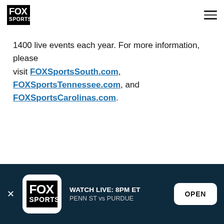FOX Sports logo and navigation menu
1400 live events each year. For more information, please visit FOXSportsSouth.com, FOXSportsTennessee.com, and FOXSportsCarolinas.com.
WATCH LIVE: 8PM ET | PENN ST vs PURDUE | OPEN